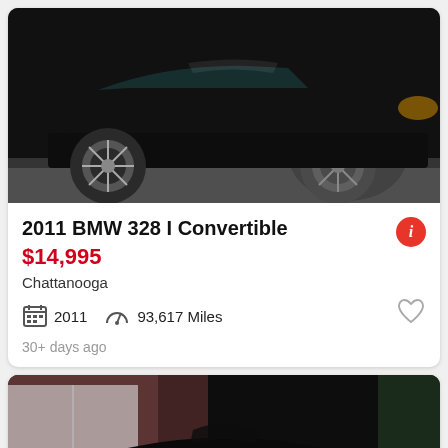[Figure (photo): Black BMW 328i Convertible side/rear view showing alloy wheels on a street]
2011 BMW 328 I Convertible
$14,995
Chattanooga
2011   93,617 Miles
30+ days ago
[Figure (photo): Black BMW front view showing BMW logo grille and headlights in a driveway with brick garage. See photo button overlay.]